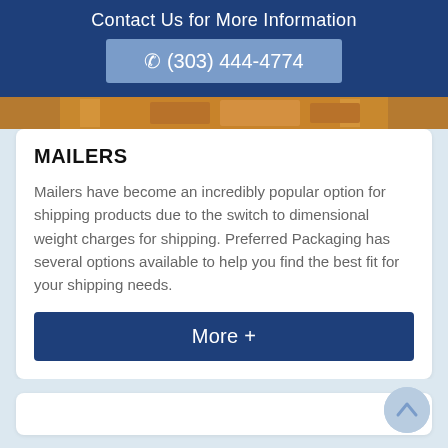Contact Us for More Information
(303) 444-4774
[Figure (photo): Brown mailer envelopes photo strip]
MAILERS
Mailers have become an incredibly popular option for shipping products due to the switch to dimensional weight charges for shipping. Preferred Packaging has several options available to help you find the best fit for your shipping needs.
More +